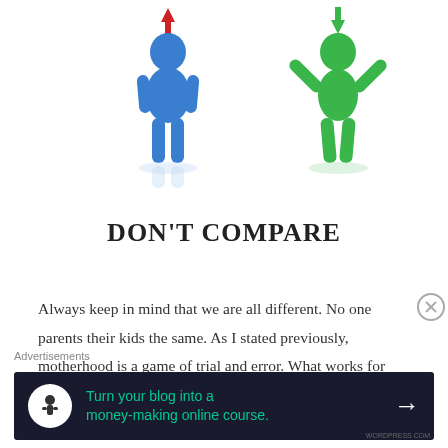[Figure (illustration): Two 3D human figures: a blue figure on the left standing straight with a red downward arrow above, and a green figure on the right with arms raised in a celebratory pose with a green upward arrow above. Both have subtle reflections beneath them.]
DON’T COMPARE
Always keep in mind that we are all different. No one parents their kids the same. As I stated previously, motherhood is a game of trial and error. What works for some doesn’t work for
Advertisements
[Figure (infographic): Dark navy advertisement banner with a white circle icon containing a tree/person logo, green text reading 'Turn your blog into a money-making online course.' and a white right arrow.]